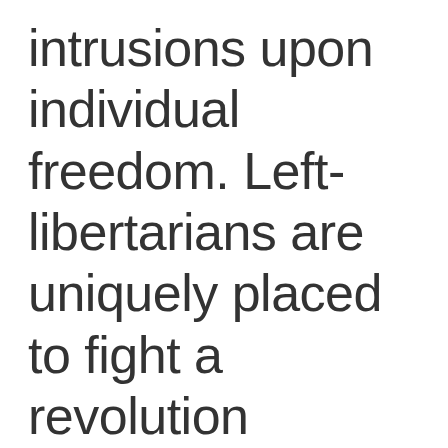intrusions upon individual freedom. Left-libertarians are uniquely placed to fight a revolution without sacrificing